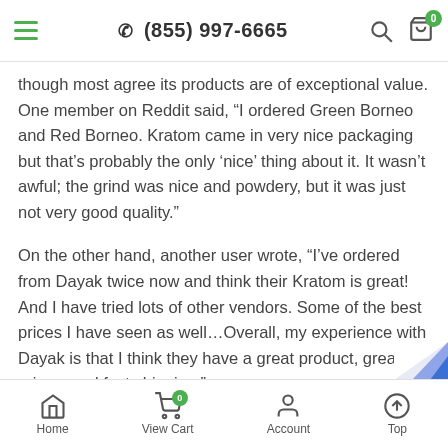(855) 997-6665
though most agree its products are of exceptional value. One member on Reddit said, “I ordered Green Borneo and Red Borneo. Kratom came in very nice packaging but that’s probably the only ‘nice’ thing about it. It wasn’t awful; the grind was nice and powdery, but it was just not very good quality.”
On the other hand, another user wrote, “I’ve ordered from Dayak twice now and think their Kratom is great! And I have tried lots of other vendors. Some of the best prices I have seen as well…Overall, my experience with Dayak is that I think they have a great product, great prices, and fast shipping.”
Home  View Cart  Account  Top